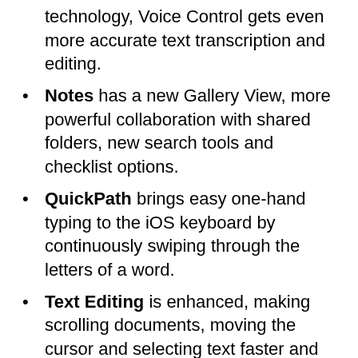technology, Voice Control gets even more accurate text transcription and editing.
Notes has a new Gallery View, more powerful collaboration with shared folders, new search tools and checklist options.
QuickPath brings easy one-hand typing to the iOS keyboard by continuously swiping through the letters of a word.
Text Editing is enhanced, making scrolling documents, moving the cursor and selecting text faster and more accurate.
Files app introduces the ability to share folders with iCloud Drive and access files from external storage devices like SD cards and USB flash drives.
Health offers ways to monitor hearing health and brings new ways to track, visualize and